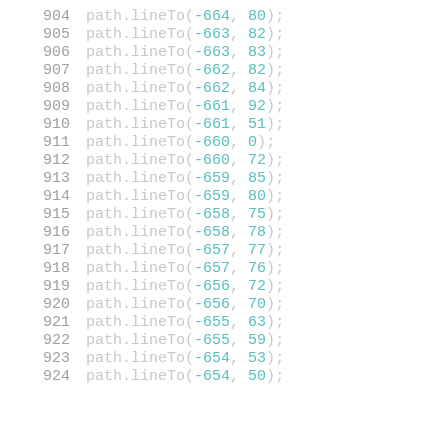904    path.lineTo(-664, 80);
905    path.lineTo(-663, 82);
906    path.lineTo(-663, 83);
907    path.lineTo(-662, 82);
908    path.lineTo(-662, 84);
909    path.lineTo(-661, 92);
910    path.lineTo(-661, 51);
911    path.lineTo(-660,  0);
912    path.lineTo(-660, 72);
913    path.lineTo(-659, 85);
914    path.lineTo(-659, 80);
915    path.lineTo(-658, 75);
916    path.lineTo(-658, 78);
917    path.lineTo(-657, 77);
918    path.lineTo(-657, 76);
919    path.lineTo(-656, 72);
920    path.lineTo(-656, 70);
921    path.lineTo(-655, 63);
922    path.lineTo(-655, 59);
923    path.lineTo(-654, 53);
924    path.lineTo(-654, 50);